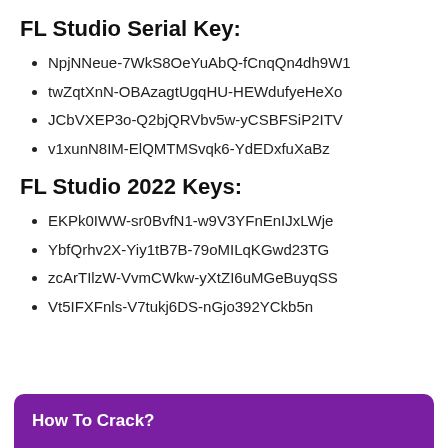FL Studio Serial Key:
NpjNNeue-7WkS8OeYuAbQ-fCnqQn4dh9W1
twZqtXnN-OBAzagtUgqHU-HEWdufyeHeXo
JCbVXEP3o-Q2bjQRVbv5w-yCSBFSiP2ITV
v1xunN8IM-ElQMTMSvqk6-YdEDxfuXaBz
FL Studio 2022 Keys:
EKPk0IWW-sr0BvfN1-w9V3YFnEnIJxLWje
YbfQrhv2X-Yiy1tB7B-79oMILqKGwd23TG
zcArTIlzW-VvmCWkw-yXtZI6uMGeBuyqSS
Vt5IFXFnls-V7tukj6DS-nGjo392YCkb5n
How To Crack?